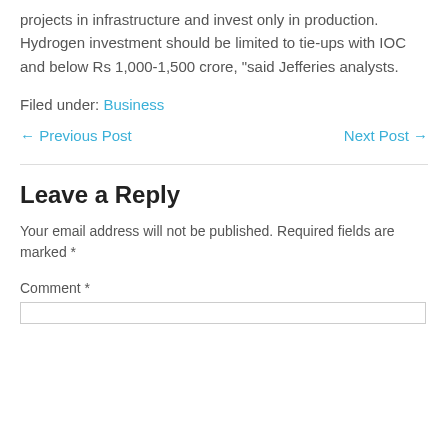projects in infrastructure and invest only in production. Hydrogen investment should be limited to tie-ups with IOC and below Rs 1,000-1,500 crore, "said Jefferies analysts.
Filed under: Business
← Previous Post   Next Post →
Leave a Reply
Your email address will not be published. Required fields are marked *
Comment *